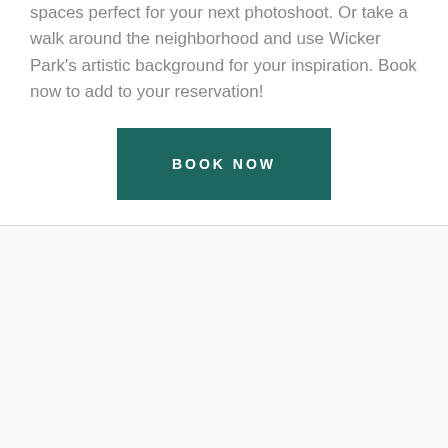spaces perfect for your next photoshoot. Or take a walk around the neighborhood and use Wicker Park's artistic background for your inspiration. Book now to add to your reservation!
[Figure (other): A teal/dark green rectangular button with white uppercase text reading 'BOOK NOW' in spaced letters]
[Figure (logo): TripAdvisor logo: an owl face icon with concentric circle eyes (left eye has red/orange center, right eye has teal/green center) inside a teal circular border, with 'tripadvisor' text below in lowercase where 'trip' is bold black and 'advisor' is teal/green]